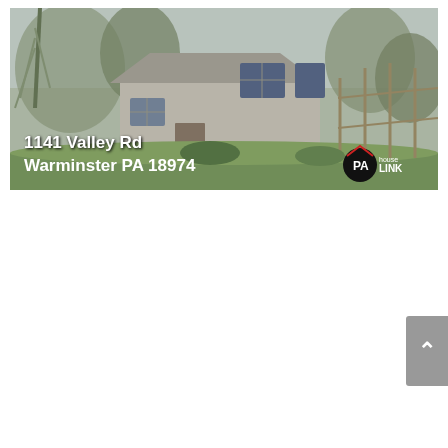[Figure (photo): Exterior photo of a residential house at 1141 Valley Rd, Warminster PA 18974. The house appears to be a single-story or split-level home with gray/white siding, surrounded by bare winter trees and some green grass. The image has address text overlaid on the lower left and a PAhouseLINK logo on the lower right.]